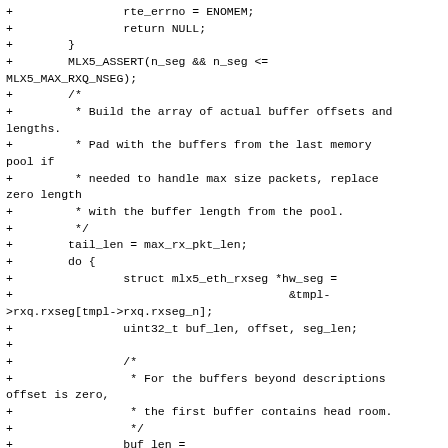+                rte_errno = ENOMEM;
+                return NULL;
+        }
+        MLX5_ASSERT(n_seg && n_seg <=
MLX5_MAX_RXQ_NSEG);
+        /*
+         * Build the array of actual buffer offsets and
lengths.
+         * Pad with the buffers from the last memory
pool if
+         * needed to handle max size packets, replace
zero length
+         * with the buffer length from the pool.
+         */
+        tail_len = max_rx_pkt_len;
+        do {
+                struct mlx5_eth_rxseg *hw_seg =
+                                        &tmpl-
>rxq.rxseg[tmpl->rxq.rxseg_n];
+                uint32_t buf_len, offset, seg_len;
+
+                /*
+                 * For the buffers beyond descriptions
offset is zero,
+                 * the first buffer contains head room.
+                 */
+                buf_len =
rte_pktmbuf_data_room_size(qs_seg->mp);
+                offset = (tmpl->rxq.rxseg_n >= n_seg ?
0 : qs_seg->offset) +